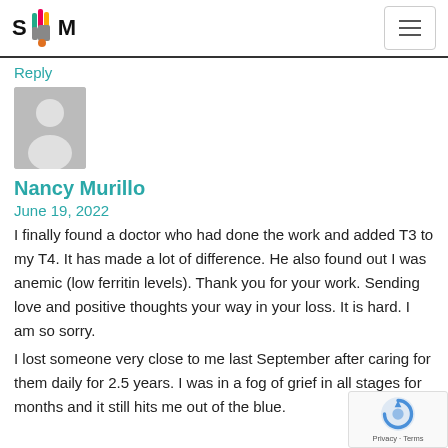STTM (logo with hamburger menu)
Reply
[Figure (illustration): Gray placeholder avatar showing a person silhouette]
Nancy Murillo
June 19, 2022
I finally found a doctor who had done the work and added T3 to my T4. It has made a lot of difference. He also found out I was anemic (low ferritin levels). Thank you for your work. Sending love and positive thoughts your way in your loss. It is hard. I am so sorry.
I lost someone very close to me last September after caring for them daily for 2.5 years. I was in a fog of grief in all stages for months and it still hits me out of the blue.